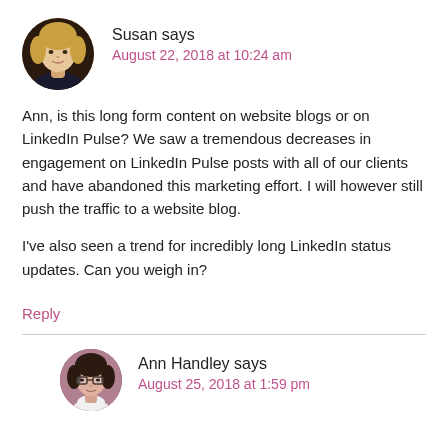[Figure (photo): Circular avatar photo of Susan, a woman with blonde hair wearing a dark jacket]
Susan says
August 22, 2018 at 10:24 am
Ann, is this long form content on website blogs or on LinkedIn Pulse? We saw a tremendous decreases in engagement on LinkedIn Pulse posts with all of our clients and have abandoned this marketing effort. I will however still push the traffic to a website blog.
I've also seen a trend for incredibly long LinkedIn status updates. Can you weigh in?
Reply
[Figure (photo): Circular avatar photo of Ann Handley, a woman with dark hair and glasses wearing a white top]
Ann Handley says
August 25, 2018 at 1:59 pm